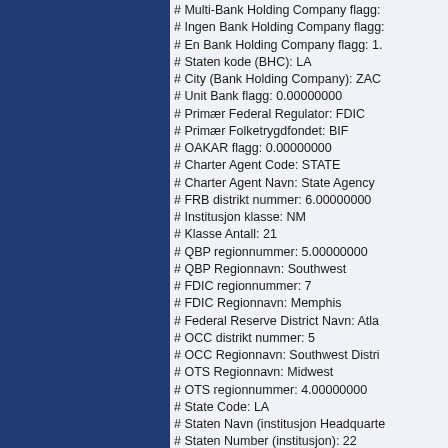# Multi-Bank Holding Company flagg:
# Ingen Bank Holding Company flagg:
# En Bank Holding Company flagg: 1.
# Staten kode (BHC): LA
# City (Bank Holding Company): ZAC
# Unit Bank flagg: 0.00000000
# Primær Federal Regulator: FDIC
# Primær Folketrygdfondet: BIF
# OAKAR flagg: 0.00000000
# Charter Agent Code: STATE
# Charter Agent Navn: State Agency
# FRB distrikt nummer: 6.00000000
# Institusjon klasse: NM
# Klasse Antall: 21
# QBP regionnummer: 5.00000000
# QBP Regionnavn: Southwest
# FDIC regionnummer: 7
# FDIC Regionnavn: Memphis
# Federal Reserve District Navn: Atla
# OCC distrikt nummer: 5
# OCC Regionnavn: Southwest Distri
# OTS Regionnavn: Midwest
# OTS regionnummer: 4.00000000
# State Code: LA
# Staten Navn (institusjon Headquarte
# Staten Number (institusjon): 22
# County Navn (institusjon): East Bato
# County Number (institusjon): 33.000
# Stat og fylke nummer (institusjon): 2
# Institusjon Hovedkontor, City: Zacha
# Institusjon hovedkvarteret, City (US
# Adresse (institusjon): P. O. Box 497
# Postnummer (institusjon): 70791